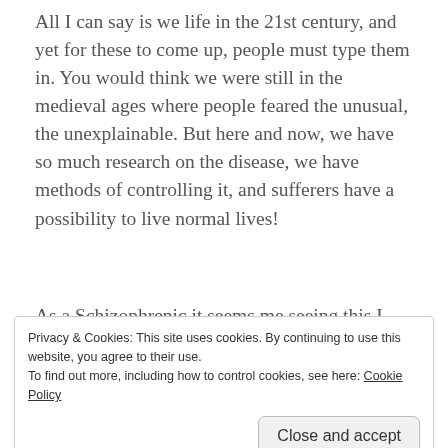All I can say is we life in the 21st century, and yet for these to come up, people must type them in. You would think we were still in the medieval ages where people feared the unusual, the unexplainable. But here and now, we have so much research on the disease, we have methods of controlling it, and sufferers have a possibility to live normal lives!
[Figure (logo): Automattic logo with tagline: Build a better web and a better world.]
As a Schizophrenic it seems me seeing this I post a long
Privacy & Cookies: This site uses cookies. By continuing to use this website, you agree to their use.
To find out more, including how to control cookies, see here: Cookie Policy
Close and accept
head. Although at the time I wasn't fully aware that it was